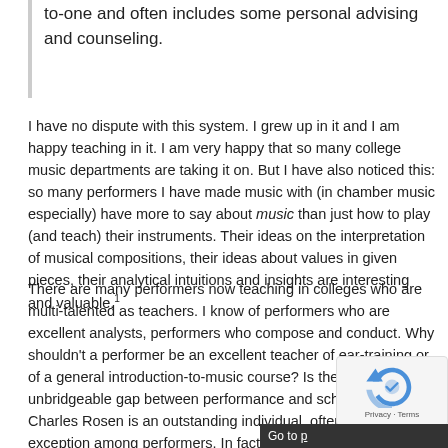to-one and often includes some personal advising and counseling.
I have no dispute with this system. I grew up in it and I am happy teaching in it. I am very happy that so many college music departments are taking it on. But I have also noticed this: so many performers I have made music with (in chamber music especially) have more to say about music than just how to play (and teach) their instruments. Their ideas on the interpretation of musical compositions, their ideas about values in given pieces, their analytical intuitions and insights are interesting and valuable.¹
There are many performers now teaching in colleges who are multi-talented as teachers. I know of performers who are excellent analysts, performers who compose and conduct. Why shouldn't a performer be an excellent teacher of ear-training or of a general introduction-to-music course? Is there an unbridgeable gap between performance and scholarship? Charles Rosen is an outstanding individual, often pointed an exception among performers. In fact, I believe, he is exception among musicologists also.